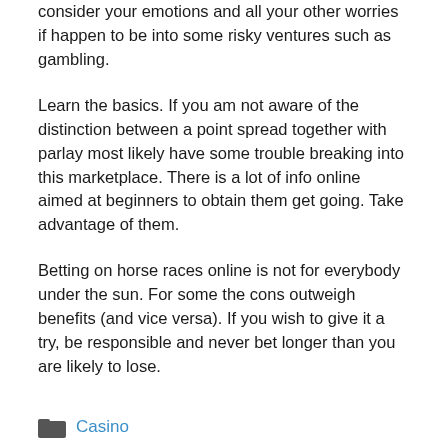consider your emotions and all your other worries if happen to be into some risky ventures such as gambling.
Learn the basics. If you am not aware of the distinction between a point spread together with parlay most likely have some trouble breaking into this marketplace. There is a lot of info online aimed at beginners to obtain them get going. Take advantage of them.
Betting on horse races online is not for everybody under the sun. For some the cons outweigh benefits (and vice versa). If you wish to give it a try, be responsible and never bet longer than you are likely to lose.
Casino